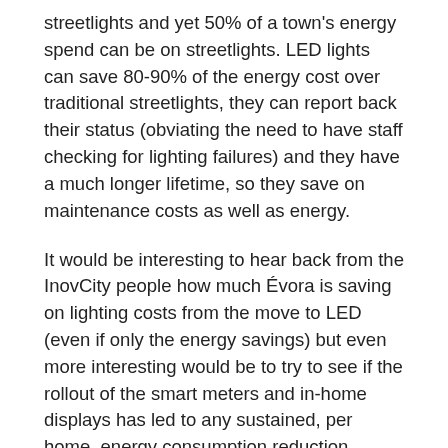streetlights and yet 50% of a town's energy spend can be on streetlights. LED lights can save 80-90% of the energy cost over traditional streetlights, they can report back their status (obviating the need to have staff checking for lighting failures) and they have a much longer lifetime, so they save on maintenance costs as well as energy.
It would be interesting to hear back from the InovCity people how much Évora is saving on lighting costs from the move to LED (even if only the energy savings) but even more interesting would be to try to see if the rollout of the smart meters and in-home displays has led to any sustained, per home, energy consumption reduction.
One last comment on this project – I can't help but feel that the provision of in-home displays is an idea whose time has past. These days most people have access to a tablet, a smartphone or a computer where they can